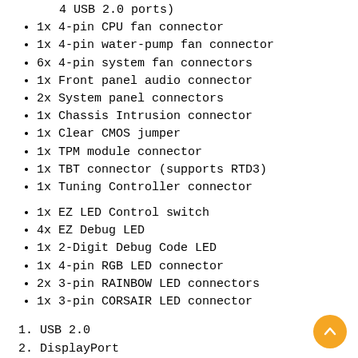2x USB 2.0 Type-A connectors (supports additional 4 USB 2.0 ports)
1x 4-pin CPU fan connector
1x 4-pin water-pump fan connector
6x 4-pin system fan connectors
1x Front panel audio connector
2x System panel connectors
1x Chassis Intrusion connector
1x Clear CMOS jumper
1x TPM module connector
1x TBT connector (supports RTD3)
1x Tuning Controller connector
1x EZ LED Control switch
4x EZ Debug LED
1x 2-Digit Debug Code LED
1x 4-pin RGB LED connector
2x 3-pin RAINBOW LED connectors
1x 3-pin CORSAIR LED connector
1. USB 2.0
2. DisplayPort
3. 2.5G LAN
4. Wi-Fi/Bluetooth